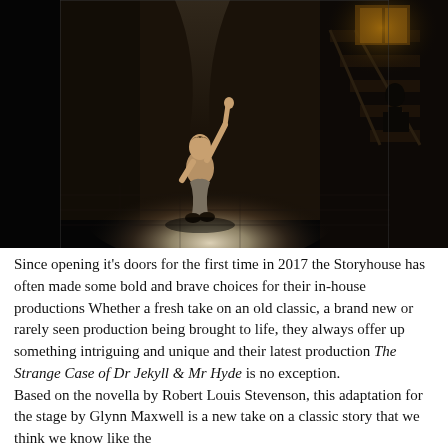[Figure (photo): A dramatic theatre stage photograph showing a performer kneeling on the floor in a spotlight with one arm raised upward. The stage is dark with wooden set pieces including stairs in the background. The lighting creates a stark, atmospheric contrast.]
Since opening it's doors for the first time in 2017 the Storyhouse has often made some bold and brave choices for their in-house productions Whether a fresh take on an old classic, a brand new or rarely seen production being brought to life, they always offer up something intriguing and unique and their latest production The Strange Case of Dr Jekyll & Mr Hyde is no exception.
Based on the novella by Robert Louis Stevenson, this adaptation for the stage by Glynn Maxwell is a new take on a classic story that we think we know like the